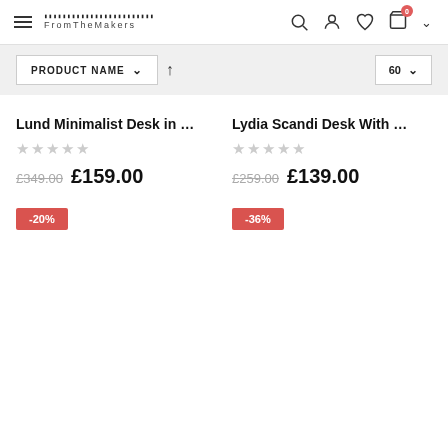FromTheMakers - navigation header with search, account, wishlist, cart icons
PRODUCT NAME ↑  60
Lund Minimalist Desk in ...
★★★★★
£349.00  £159.00
-20%
Lydia Scandi Desk With ...
★★★★★
£259.00  £139.00
-36%